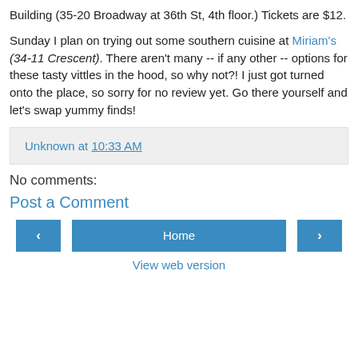Building (35-20 Broadway at 36th St, 4th floor.) Tickets are $12.
Sunday I plan on trying out some southern cuisine at Miriam's (34-11 Crescent). There aren't many -- if any other -- options for these tasty vittles in the hood, so why not?! I just got turned onto the place, so sorry for no review yet. Go there yourself and let's swap yummy finds!
Unknown at 10:33 AM
No comments:
Post a Comment
Home
View web version